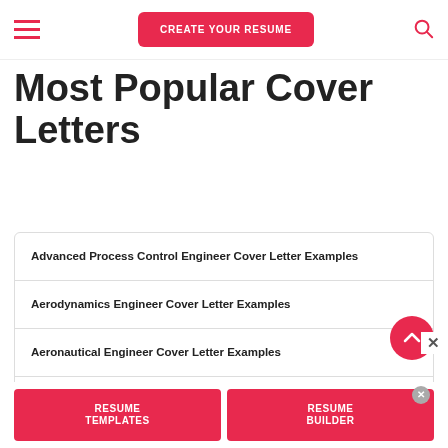CREATE YOUR RESUME
Most Popular Cover Letters
Advanced Process Control Engineer Cover Letter Examples
Aerodynamics Engineer Cover Letter Examples
Aeronautical Engineer Cover Letter Examples
Aerospace Engineer Cover Letter Examples
RESUME TEMPLATES | RESUME BUILDER